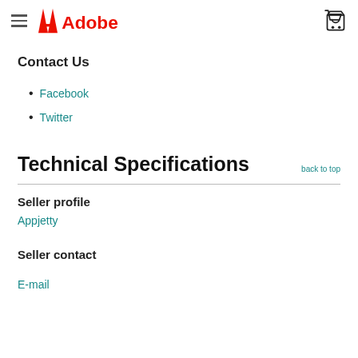Adobe (hamburger menu, Adobe logo, cart icon)
Contact Us
Facebook
Twitter
Technical Specifications
back to top
Seller profile
Appjetty
Seller contact
E-mail